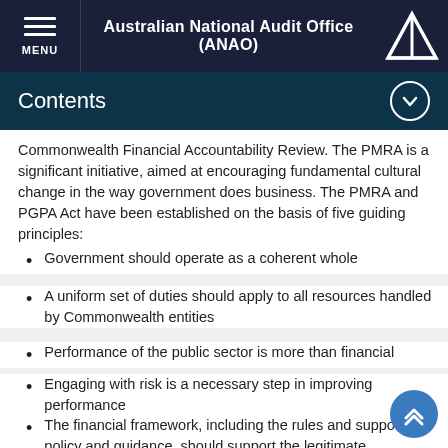Australian National Audit Office (ANAO)
Contents
Commonwealth Financial Accountability Review. The PMRA is a significant initiative, aimed at encouraging fundamental cultural change in the way government does business. The PMRA and PGPA Act have been established on the basis of five guiding principles:
Government should operate as a coherent whole
A uniform set of duties should apply to all resources handled by Commonwealth entities
Performance of the public sector is more than financial
Engaging with risk is a necessary step in improving performance
The financial framework, including the rules and supporting policy and guidance, should support the legitimate requirements of the Government and the